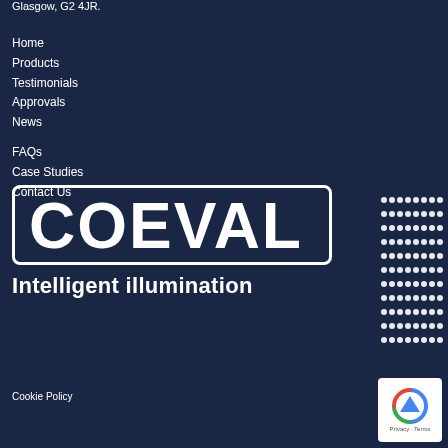Glasgow, G2 4JR.
Home
Products
Testimonials
Approvals
News
FAQs
Case Studies
Contact Us
[Figure (logo): COEVAL logo with text 'COEVAL' in a rounded rectangle border and tagline 'Intelligent illumination' below, plus a dot grid pattern to the right]
Cookie Policy
[Figure (other): reCAPTCHA widget showing Privacy and Terms]